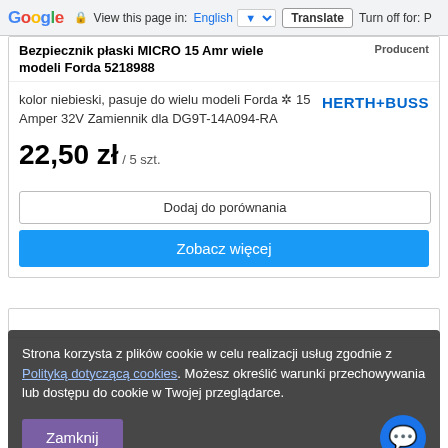Google  View this page in: English [▼]  Translate  Turn off for: P
Bezpiecznik płaski MICRO 15 Amr wiele modeli Forda 5218988
Producent
kolor niebieski, pasuje do wielu modeli Forda ✲ 15 Amper 32V Zamiennik dla DG9T-14A094-RA
HERTH+BUSS
22,50 zł / 5 szt.
Dodaj do porównania
Zobacz więcej
Strona korzysta z plików cookie w celu realizacji usług zgodnie z Polityką dotyczącą cookies. Możesz określić warunki przechowywania lub dostępu do cookie w Twojej przeglądarce.
Zamknij